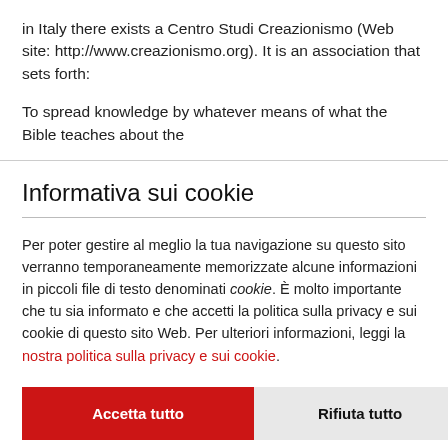in Italy there exists a Centro Studi Creazionismo (Web site: http://www.creazionismo.org). It is an association that sets forth:

To spread knowledge by whatever means of what the Bible teaches about the
Informativa sui cookie
Per poter gestire al meglio la tua navigazione su questo sito verranno temporaneamente memorizzate alcune informazioni in piccoli file di testo denominati cookie. È molto importante che tu sia informato e che accetti la politica sulla privacy e sui cookie di questo sito Web. Per ulteriori informazioni, leggi la nostra politica sulla privacy e sui cookie.
Accetta tutto | Rifiuta tutto | Personalizza